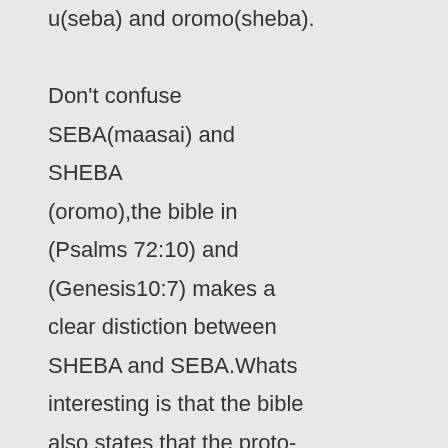u(seba) and oromo(sheba). Don't confuse SEBA(maasai) and SHEBA (oromo),the bible in (Psalms 72:10) and (Genesis10:7) makes a clear distiction between SHEBA and SEBA.Whats interesting is that the bible also states that the proto-kalenjins(Biblical Raamah) are the nilotic ancestors of oromo(Sheba) and Somali(Dedan).The